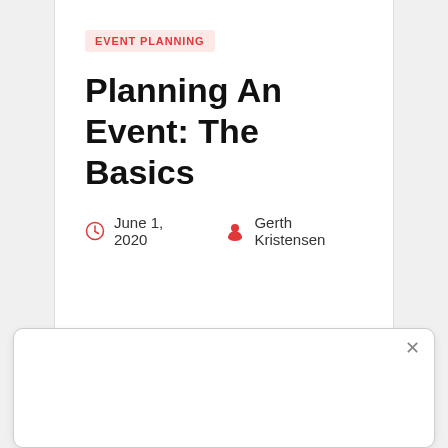EVENT PLANNING
Planning An Event: The Basics
June 1, 2020   Gerth Kristensen